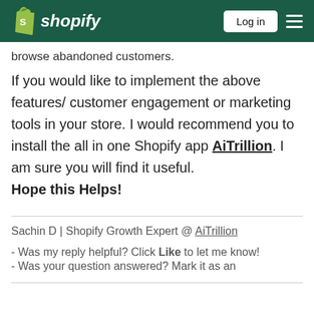shopify | Log in | menu
browse abandoned customers.
If you would like to implement the above features/customer engagement or marketing tools in your store. I would recommend you to install the all in one Shopify app AiTrillion. I am sure you will find it useful.
Hope this Helps!
Sachin D | Shopify Growth Expert @ AiTrillion
- Was my reply helpful? Click Like to let me know!
- Was your question answered? Mark it as an